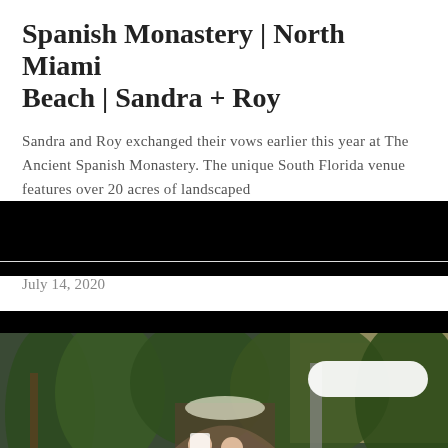Spanish Monastery | North Miami Beach | Sandra + Roy
Sandra and Roy exchanged their vows earlier this year at The Ancient Spanish Monastery. The unique South Florida venue features over 20 acres of landscaped
July 14, 2020
[Figure (photo): Outdoor wedding ceremony at The Ancient Spanish Monastery in North Miami Beach. A bride in a white gown and groom in a tuxedo stand at the altar surrounded by lush tropical greenery, palm trees, and a historic building facade. Guests stand on either side. A white pill-shaped button overlay is visible in the upper right, and a white scroll-up button with a chevron is in the lower right.]